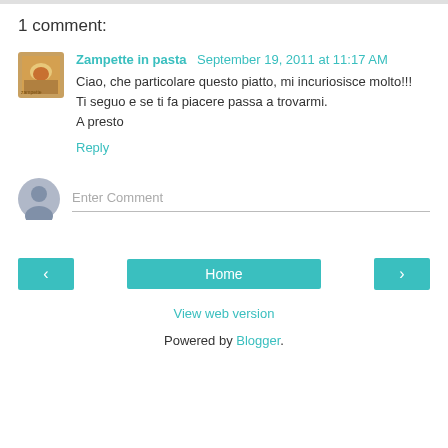1 comment:
Zampette in pasta  September 19, 2011 at 11:17 AM
Ciao, che particolare questo piatto, mi incuriosisce molto!!!
Ti seguo e se ti fa piacere passa a trovarmi.
A presto
Reply
Enter Comment
Home
View web version
Powered by Blogger.